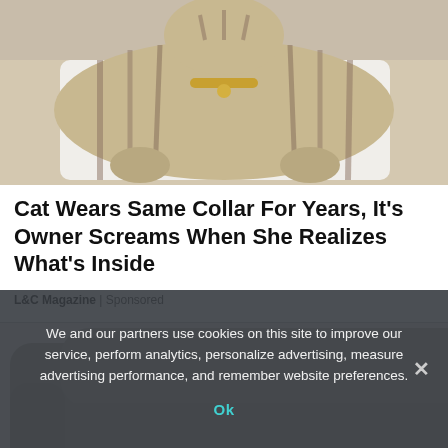[Figure (photo): A tabby cat lying on its back on a white surface, wearing a gold bell collar, showing striped fur pattern on its belly and limbs]
Cat Wears Same Collar For Years, It's Owner Screams When She Realizes What's Inside
L&C Magazine | Sponsored
[Figure (photo): A gray leather recliner sofa with cushioned headrest and armrests, with a side table visible on the right]
We and our partners use cookies on this site to improve our service, perform analytics, personalize advertising, measure advertising performance, and remember website preferences.